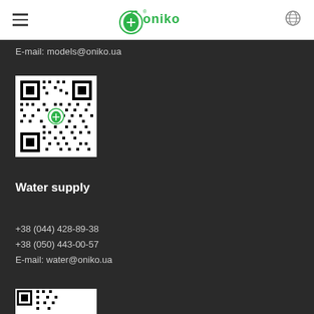Oniko logo header with hamburger menu and globe icon
E-mail: models@oniko.ua
[Figure (other): QR code with Oniko logo in the center]
Water supply
+38 (044) 428-89-38
+38 (050) 443-00-57
E-mail: water@oniko.ua
[Figure (other): Partially visible QR code at bottom of page]